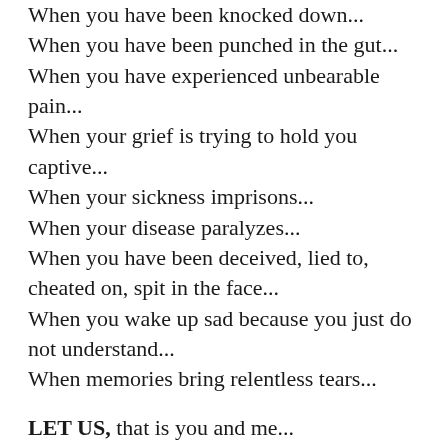When you have been knocked down...
When you have been punched in the gut...
When you have experienced unbearable pain...
When your grief is trying to hold you captive...
When your sickness imprisons...
When your disease paralyzes...
When you have been deceived, lied to, cheated on, spit in the face...
When you wake up sad because you just do not understand...
When memories bring relentless tears...
LET US, that is you and me...
HOLD FAST...
Hold on
Retain